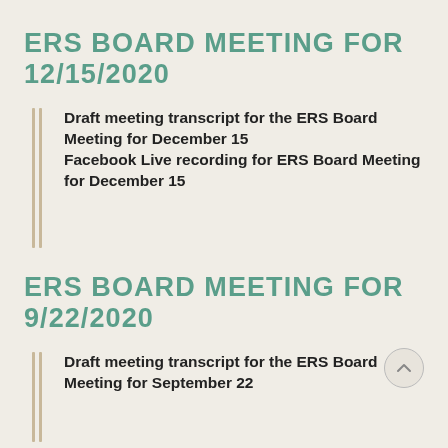ERS BOARD MEETING FOR 12/15/2020
Draft meeting transcript for the ERS Board Meeting for December 15
Facebook Live recording for ERS Board Meeting for December 15
ERS BOARD MEETING FOR 9/22/2020
Draft meeting transcript for the ERS Board Meeting for September 22